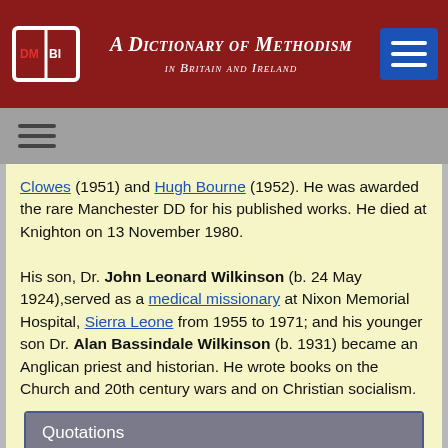A Dictionary of Methodism in Britain and Ireland
Clowes (1951) and Hugh Bourne (1952). He was awarded the rare Manchester DD for his published works. He died at Knighton on 13 November 1980.

His son, Dr. John Leonard Wilkinson (b. 24 May 1924),served as a medical missionary at Nixon Memorial Hospital, Sierra Leone from 1955 to 1971; and his younger son Dr. Alan Bassindale Wilkinson (b. 1931) became an Anglican priest and historian. He wrote books on the Church and 20th century wars and on Christian socialism.
Quotations
'As a (Primitive) Methodist minister and pacifist, my father felt marginal to society. He was torn throughout his life. On the one hand he saw Jesus as an outsider from manger to